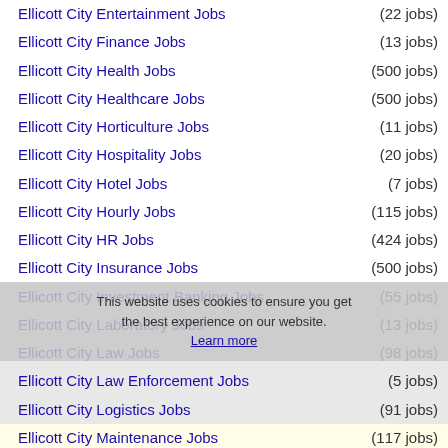Ellicott City Entertainment Jobs (22 jobs)
Ellicott City Finance Jobs (13 jobs)
Ellicott City Health Jobs (500 jobs)
Ellicott City Healthcare Jobs (500 jobs)
Ellicott City Horticulture Jobs (11 jobs)
Ellicott City Hospitality Jobs (20 jobs)
Ellicott City Hotel Jobs (7 jobs)
Ellicott City Hourly Jobs (115 jobs)
Ellicott City HR Jobs (424 jobs)
Ellicott City Insurance Jobs (500 jobs)
Ellicott City Investment Banking Jobs (55 jobs)
Ellicott City Laboratory Jobs (13 jobs)
Ellicott City Law Jobs (98 jobs)
Ellicott City Law Enforcement Jobs (5 jobs)
Ellicott City Logistics Jobs (91 jobs)
Ellicott City Maintenance Jobs (117 jobs)
Ellicott City Management Jobs (216 jobs)
Ellicott City Manufacturing Jobs (45 jobs)
Ellicott City Marketing Jobs (64 jobs)
Ellicott City Medical Jobs (500 jobs)